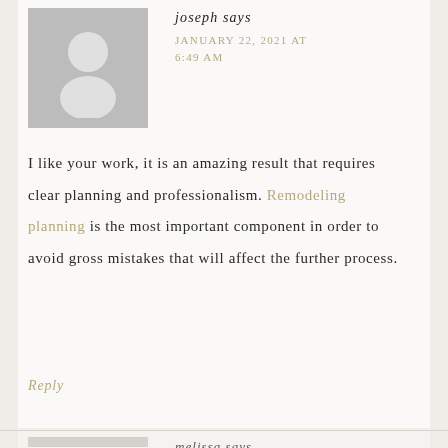[Figure (illustration): Gray placeholder avatar image with silhouette of a person (head and shoulders)]
joseph says
JANUARY 22, 2021 AT 6:49 AM
I like your work, it is an amazing result that requires clear planning and professionalism. Remodeling planning is the most important component in order to avoid gross mistakes that will affect the further process.
Reply
melissa says